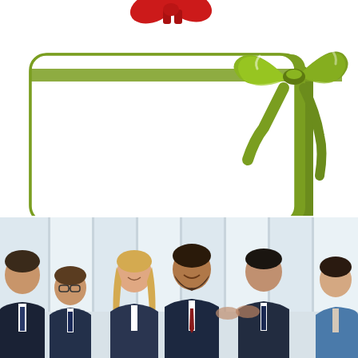[Figure (illustration): Top portion shows partial red bow/ribbon decoration at top center. Below it is a white gift card with rounded corners, a green ribbon border/frame, and a green satin bow tied at the top-right corner of the card. The card interior is blank white.]
[Figure (photo): A group of young business professionals in suits standing together in a bright office environment, appearing to have a friendly discussion or meeting. There are approximately 5-6 people visible including men and women.]